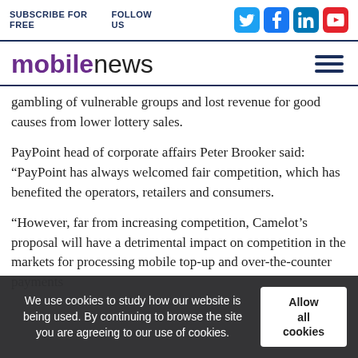SUBSCRIBE FOR FREE   FOLLOW US
mobilenews
gambling of vulnerable groups and lost revenue for good causes from lower lottery sales.
PayPoint head of corporate affairs Peter Brooker said: “PayPoint has always welcomed fair competition, which has benefited the operators, retailers and consumers.
“However, far from increasing competition, Camelot’s proposal will have a detrimental impact on competition in the markets for processing mobile top-up and over-the-counter payments
We use cookies to study how our website is being used. By continuing to browse the site you are agreeing to our use of cookies.